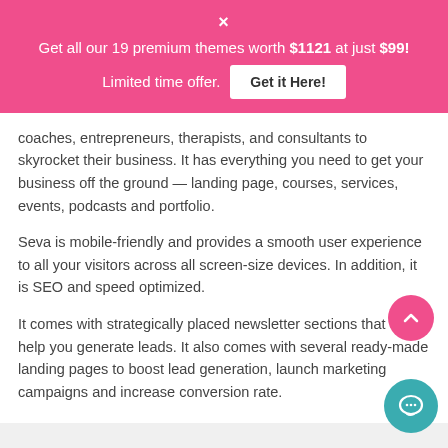× Get all our 19 premium themes worth $1121 at just $99! Limited time offer. Get it Here!
coaches, entrepreneurs, therapists, and consultants to skyrocket their business. It has everything you need to get your business off the ground — landing page, courses, services, events, podcasts and portfolio.
Seva is mobile-friendly and provides a smooth user experience to all your visitors across all screen-size devices. In addition, it is SEO and speed optimized.
It comes with strategically placed newsletter sections that can help you generate leads. It also comes with several ready-made landing pages to boost lead generation, launch marketing campaigns and increase conversion rate.